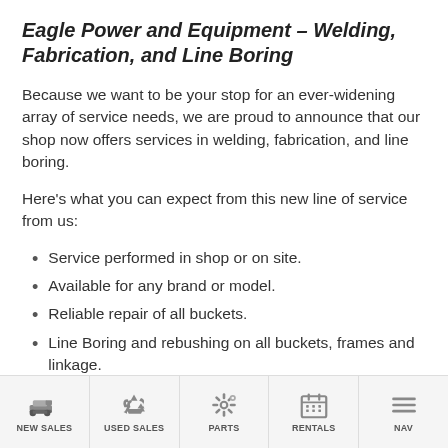Eagle Power and Equipment – Welding, Fabrication, and Line Boring
Because we want to be your stop for an ever-widening array of service needs, we are proud to announce that our shop now offers services in welding, fabrication, and line boring.
Here's what you can expect from this new line of service from us:
Service performed in shop or on site.
Available for any brand or model.
Reliable repair of all buckets.
Line Boring and rebushing on all buckets, frames and linkage.
NEW SALES   USED SALES   PARTS   RENTALS   NAV